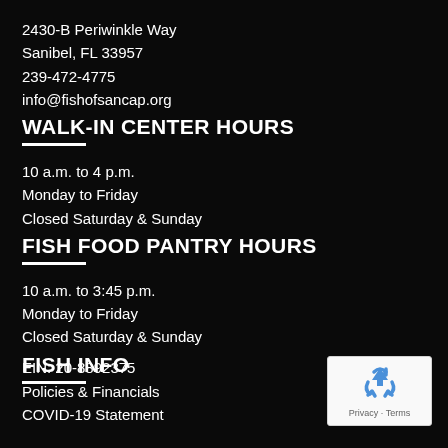2430-B Periwinkle Way
Sanibel, FL 33957
239-472-4775
info@fishofsancap.org
WALK-IN CENTER HOURS
10 a.m. to 4 p.m.
Monday to Friday
Closed Saturday & Sunday
FISH FOOD PANTRY HOURS
10 a.m. to 3:45 p.m.
Monday to Friday
Closed Saturday & Sunday
FISH INFO
EIN: 20-8892375
Policies & Financials
COVID-19 Statement
[Figure (logo): reCAPTCHA badge with recycling-style logo icon, showing Privacy and Terms text]